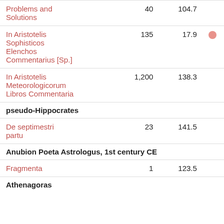| Work | Count | Value |  |
| --- | --- | --- | --- |
| Problems and Solutions | 40 | 104.7 |  |
| In Aristotelis Sophisticos Elenchos Commentarius [Sp.] | 135 | 17.9 | ● |
| In Aristotelis Meteorologicorum Libros Commentaria | 1,200 | 138.3 |  |
| pseudo-Hippocrates |  |  |  |
| De septimestri partu | 23 | 141.5 |  |
| Anubion Poeta Astrologus, 1st century CE |  |  |  |
| Fragmenta | 1 | 123.5 |  |
| Athenagoras |  |  |  |